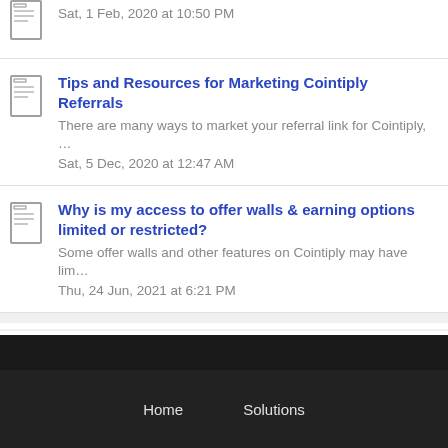Sat, 1 Feb, 2020 at 10:50 PM
Tips and Resources for Marketing Cointiply Referrals
There are many ways to market your referral link for Cointiply, …
Sat, 5 Dec, 2020 at 12:47 AM
Why is my access to offer walls & earning options limited or restricted?
Some offer walls and other features on Cointiply may have lim…
Thu, 24 Jun, 2021 at 6:21 PM
Home    Solutions